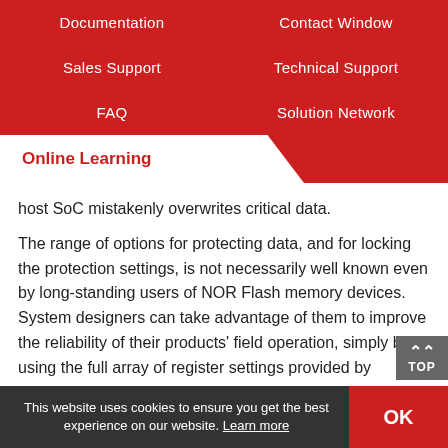Documentation | Contact Window | Sales Support | Technical Support | FAQ | Solution Network
Online Learning
host SoC mistakenly overwrites critical data.
The range of options for protecting data, and for locking the protection settings, is not necessarily well known even by long-standing users of NOR Flash memory devices. System designers can take advantage of them to improve the reliability of their products' field operation, simply by using the full array of register settings provided by Winbond in SpiFlash NOR Flash devices.
Please contact mkt_online@winbond.com if you have any
This website uses cookies to ensure you get the best experience on our website. Learn more